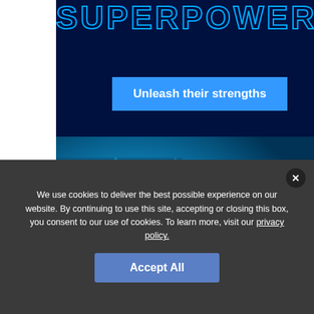SUPERPOWER
Unleash their strengths
[Figure (photo): Young man wearing headphones and microphone, smiling, raising fist in victory, lit by blue neon light, esports/gaming context]
We use cookies to deliver the best possible experience on our website. By continuing to use this site, accepting or closing this box, you consent to our use of cookies. To learn more, visit our privacy policy.
Accept All